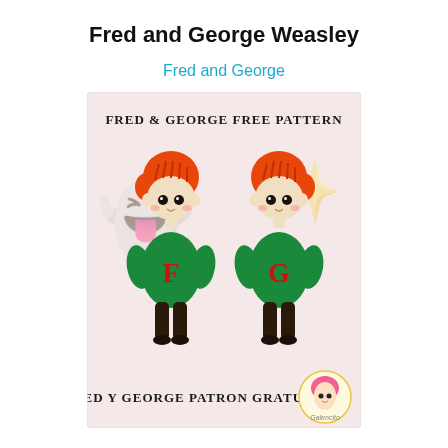Fred and George Weasley
Fred and George
[Figure (photo): Two crocheted amigurumi dolls of Fred and George Weasley with orange/red hair, wearing green sweaters with red letters 'F' and 'G'. Black text at top reads 'FRED & GEORGE FREE PATTERN' and at bottom 'FRED Y GEORGE PATRON GRATUITO'. A small anime-style logo appears in the bottom right corner labeled 'Galencito'.]